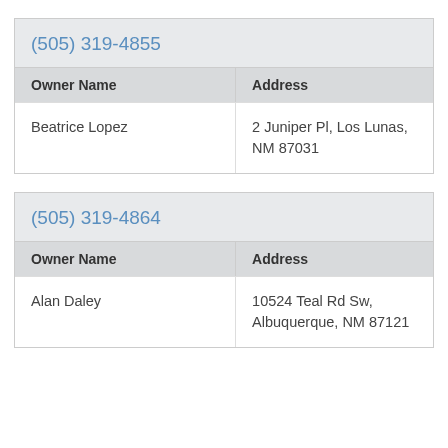| Owner Name | Address |
| --- | --- |
| Beatrice Lopez | 2 Juniper Pl, Los Lunas, NM 87031 |
| Owner Name | Address |
| --- | --- |
| Alan Daley | 10524 Teal Rd Sw, Albuquerque, NM 87121 |